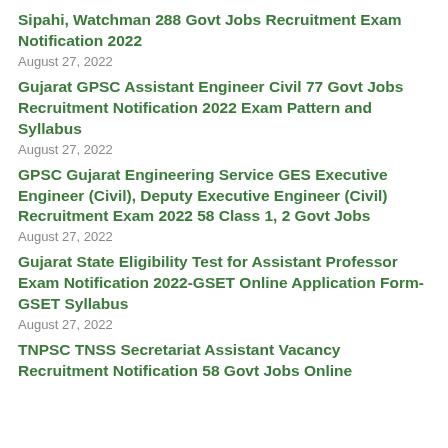Sipahi, Watchman 288 Govt Jobs Recruitment Exam Notification 2022
August 27, 2022
Gujarat GPSC Assistant Engineer Civil 77 Govt Jobs Recruitment Notification 2022 Exam Pattern and Syllabus
August 27, 2022
GPSC Gujarat Engineering Service GES Executive Engineer (Civil), Deputy Executive Engineer (Civil) Recruitment Exam 2022 58 Class 1, 2 Govt Jobs
August 27, 2022
Gujarat State Eligibility Test for Assistant Professor Exam Notification 2022-GSET Online Application Form-GSET Syllabus
August 27, 2022
TNPSC TNSS Secretariat Assistant Vacancy Recruitment Notification 58 Govt Jobs Online